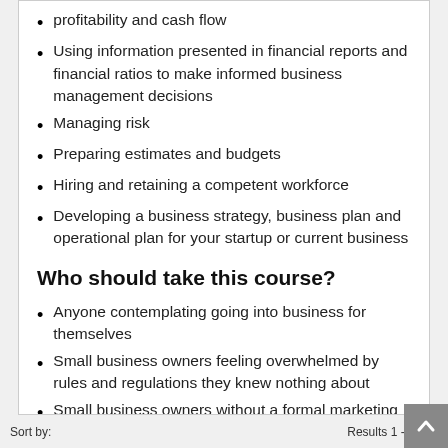profitability and cash flow
Using information presented in financial reports and financial ratios to make informed business management decisions
Managing risk
Preparing estimates and budgets
Hiring and retaining a competent workforce
Developing a business strategy, business plan and operational plan for your startup or current business
Who should take this course?
Anyone contemplating going into business for themselves
Small business owners feeling overwhelmed by rules and regulations they knew nothing about
Small business owners without a formal marketing and business plan.
Sort by:                                                        Results 1 - 2 of 2